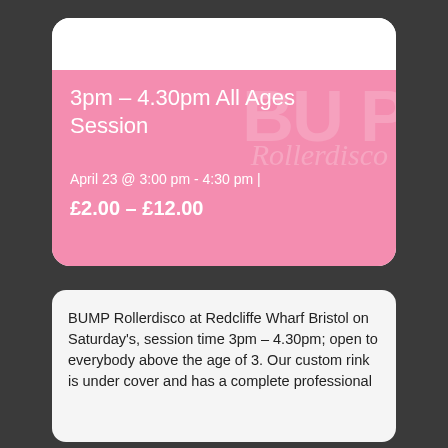3pm – 4.30pm All Ages Session
April 23 @ 3:00 pm - 4:30 pm |
£2.00 – £12.00
BUMP Rollerdisco at Redcliffe Wharf Bristol on Saturday's, session time 3pm – 4.30pm; open to everybody above the age of 3. Our custom rink is under cover and has a complete professional